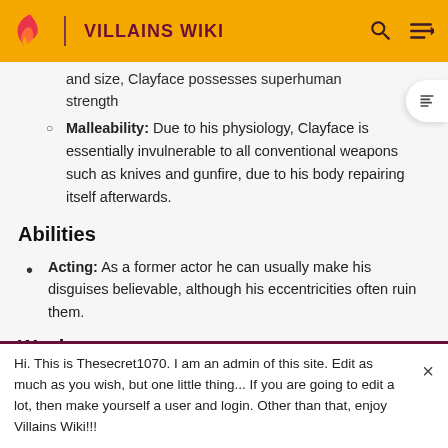VILLAINS WIKI
and size, Clayface possesses superhuman strength
Malleability: Due to his physiology, Clayface is essentially invulnerable to all conventional weapons such as knives and gunfire, due to his body repairing itself afterwards.
Abilities
Acting: As a former actor he can usually make his disguises believable, although his eccentricities often ruin them.
Weaknesses
Hi. This is Thesecret1070. I am an admin of this site. Edit as much as you wish, but one little thing... If you are going to edit a lot, then make yourself a user and login. Other than that, enjoy Villains Wiki!!!